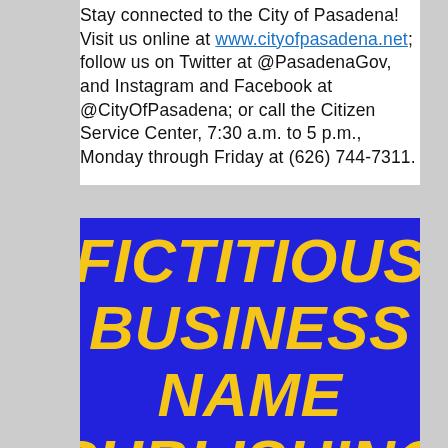Stay connected to the City of Pasadena! Visit us online at www.cityofpasadena.net; follow us on Twitter at @PasadenaGov, and Instagram and Facebook at @CityOfPasadena; or call the Citizen Service Center, 7:30 a.m. to 5 p.m., Monday through Friday at (626) 744-7311.
[Figure (other): Blue promotional banner with bold yellow italic text reading FICTITIOUS BUSINESS NAME PUBLISHING]